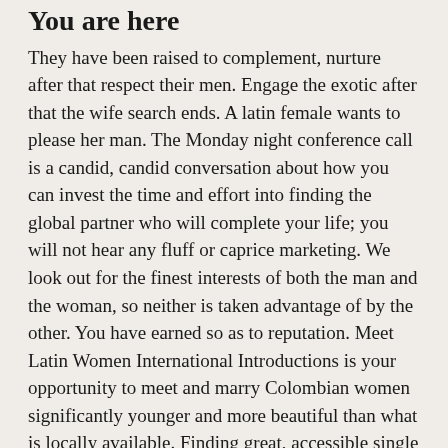You are here
They have been raised to complement, nurture after that respect their men. Engage the exotic after that the wife search ends. A latin female wants to please her man. The Monday night conference call is a candid, candid conversation about how you can invest the time and effort into finding the global partner who will complete your life; you will not hear any fluff or caprice marketing. We look out for the finest interests of both the man and the woman, so neither is taken advantage of by the other. You have earned so as to reputation. Meet Latin Women International Introductions is your opportunity to meet and marry Colombian women significantly younger and more beautiful than what is locally available. Finding great, accessible single women in the US can be difficult.